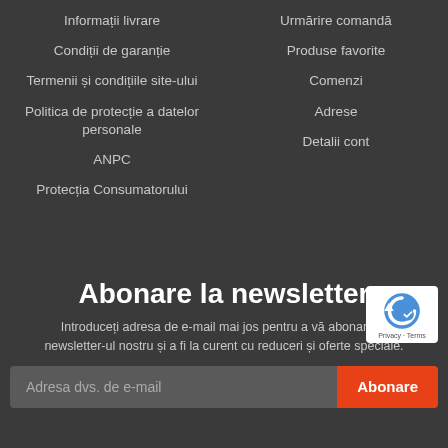Informații livrare
Urmărire comandă
Condiții de garanție
Produse favorite
Termenii și condițiile site-ului
Comenzi
Adrese
Politica de protecție a datelor personale
Detalii cont
ANPC
Protecția Consumatorului
Abonare la newsletter
Introduceți adresa de e-mail mai jos pentru a vă abona la newsletter-ul nostru și a fi la curent cu reduceri și oferte speciale.
Adresa dvs. de e-mail
Abonare